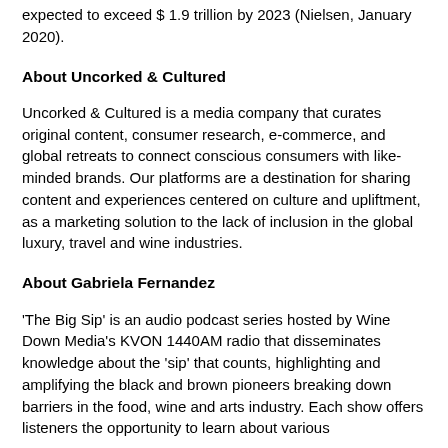expected to exceed $ 1.9 trillion by 2023 (Nielsen, January 2020).
About Uncorked & Cultured
Uncorked & Cultured is a media company that curates original content, consumer research, e-commerce, and global retreats to connect conscious consumers with like-minded brands. Our platforms are a destination for sharing content and experiences centered on culture and upliftment, as a marketing solution to the lack of inclusion in the global luxury, travel and wine industries.
About Gabriela Fernandez
'The Big Sip' is an audio podcast series hosted by Wine Down Media's KVON 1440AM radio that disseminates knowledge about the 'sip' that counts, highlighting and amplifying the black and brown pioneers breaking down barriers in the food, wine and arts industry. Each show offers listeners the opportunity to learn about various